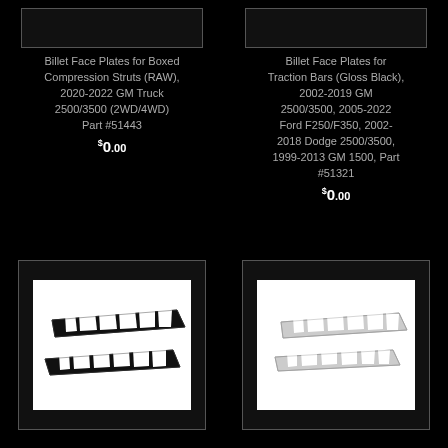[Figure (photo): Grey rectangle placeholder box for product image - top left]
Billet Face Plates for Boxed Compression Struts (RAW), 2020-2022 GM Truck 2500/3500 (2WD/4WD) Part #51443
$0.00
[Figure (photo): Grey rectangle placeholder box for product image - top right]
Billet Face Plates for Traction Bars (Gloss Black), 2002-2019 GM 2500/3500, 2005-2022 Ford F250/F350, 2002-2018 Dodge 2500/3500, 1999-2013 GM 1500, Part #51321
$0.00
[Figure (photo): Product photo showing two black billet face plates with diagonal cutout pattern on white background]
[Figure (photo): Product photo showing two silver/raw billet face plates with diagonal cutout pattern on white background]